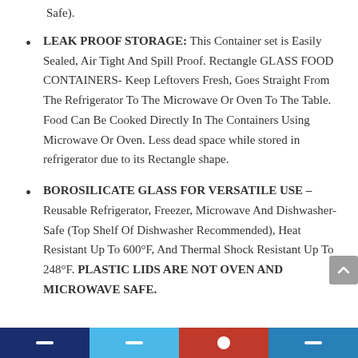Safe).
LEAK PROOF STORAGE: This Container set is Easily Sealed, Air Tight And Spill Proof. Rectangle GLASS FOOD CONTAINERS- Keep Leftovers Fresh, Goes Straight From The Refrigerator To The Microwave Or Oven To The Table. Food Can Be Cooked Directly In The Containers Using Microwave Or Oven. Less dead space while stored in refrigerator due to its Rectangle shape.
BOROSILICATE GLASS FOR VERSATILE USE – Reusable Refrigerator, Freezer, Microwave And Dishwasher-Safe (Top Shelf Of Dishwasher Recommended), Heat Resistant Up To 600°F, And Thermal Shock Resistant Up To 248°F. PLASTIC LIDS ARE NOT OVEN AND MICROWAVE SAFE.
Social media share bar